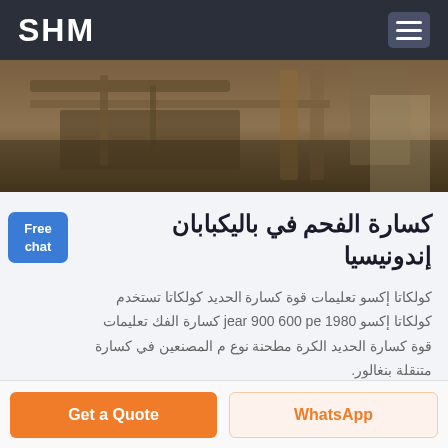SHM
[Figure (photo): Industrial machinery / crusher equipment in outdoor setting with brownish-orange tones]
كسارة الفحم في باليكبابان إندونيسيا
كولكاتا إكسو تعليمات قوة كسارة الحديد كولكاتا تستخدم كولكاتا إكسو 1980 jear 900 600 pe كسارة الفك تعليمات قوة كسارة الحديد الكرة مطحنة نوع م المصنعين في كسارة متنقلة بنغالور.
الدردشة الآن
Get a Quote
WhatsApp